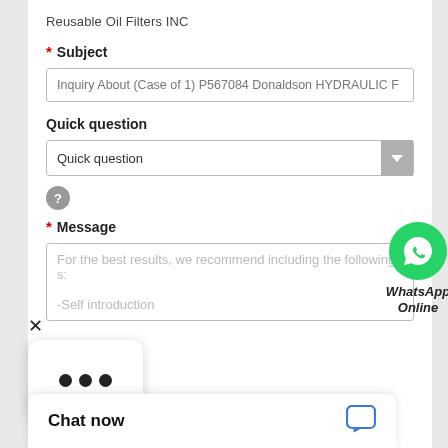Reusable Oil Filters INC
* Subject
Inquiry About (Case of 1) P567084 Donaldson HYDRAULIC F
Quick question
Quick question
[Figure (logo): WhatsApp Online green circle button with phone icon and italic bold text WhatsApp Online]
?
* Message
X
For the best results, we recommend including the following s:
...
-Self introduction
Chat now